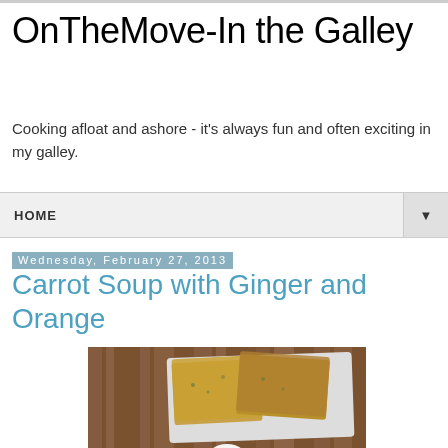OnTheMove-In the Galley
Cooking afloat and ashore - it's always fun and often exciting in my galley.
HOME
Wednesday, February 27, 2013
Carrot Soup with Ginger and Orange
[Figure (photo): Photo of carrot soup in a white flower-shaped bowl with bread on a white tray, on a wooden surface]